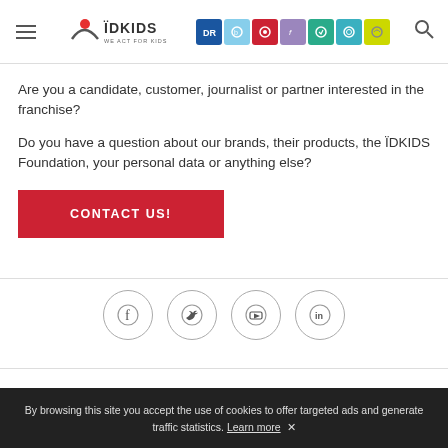IDKIDS — WE ACT FOR KIDS (logo and navigation header)
[Figure (logo): IDKIDS logo with tagline WE ACT FOR KIDS and colored brand icons]
Are you a candidate, customer, journalist or partner interested in the franchise?
Do you have a question about our brands, their products, the IDKIDS Foundation, your personal data or anything else?
CONTACT US!
[Figure (infographic): Social media icons: Facebook, Twitter, YouTube, LinkedIn in circular outlines]
By browsing this site you accept the use of cookies to offer targeted ads and generate traffic statistics. Learn more ✕